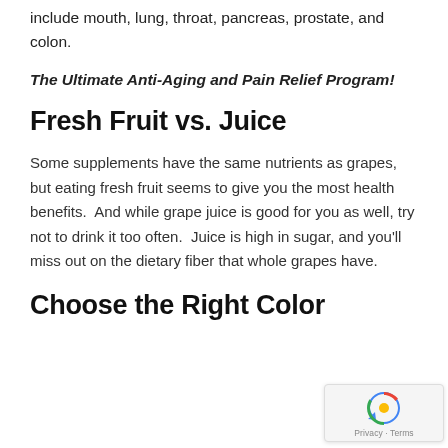include mouth, lung, throat, pancreas, prostate, and colon.
The Ultimate Anti-Aging and Pain Relief Program!
Fresh Fruit vs. Juice
Some supplements have the same nutrients as grapes, but eating fresh fruit seems to give you the most health benefits.  And while grape juice is good for you as well, try not to drink it too often.  Juice is high in sugar, and you'll miss out on the dietary fiber that whole grapes have.
Choose the Right Color